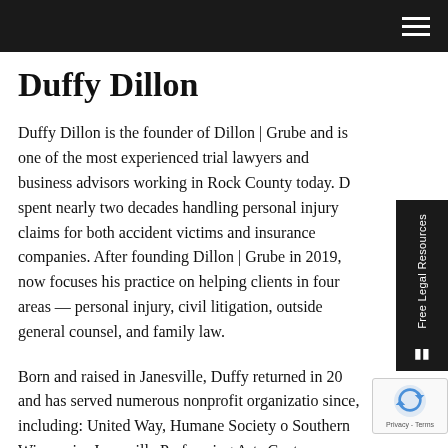Navigation bar with hamburger menu
Duffy Dillon
Duffy Dillon is the founder of Dillon | Grube and is one of the most experienced trial lawyers and business advisors working in Rock County today. D spent nearly two decades handling personal injury claims for both accident victims and insurance companies. After founding Dillon | Grube in 2019, now focuses his practice on helping clients in four areas — personal injury, civil litigation, outside general counsel, and family law.
Born and raised in Janesville, Duffy returned in 20 and has served numerous nonprofit organizatio since, including: United Way, Humane Society o Southern Wisconsin, Janesville Performing Arts Center, Janesville Youth Baseball & Softball